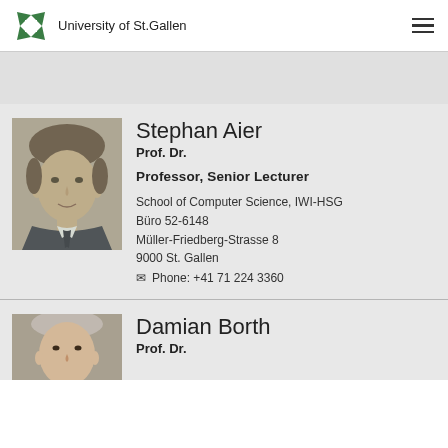University of St.Gallen
[Figure (photo): Headshot photo of Stephan Aier, a middle-aged man with brown hair wearing a dark suit]
Stephan Aier
Prof. Dr.

Professor, Senior Lecturer

School of Computer Science, IWI-HSG
Büro 52-6148
Müller-Friedberg-Strasse 8
9000 St. Gallen
Phone: +41 71 224 3360
[Figure (photo): Partial headshot photo of Damian Borth, an older man]
Damian Borth
Prof. Dr.